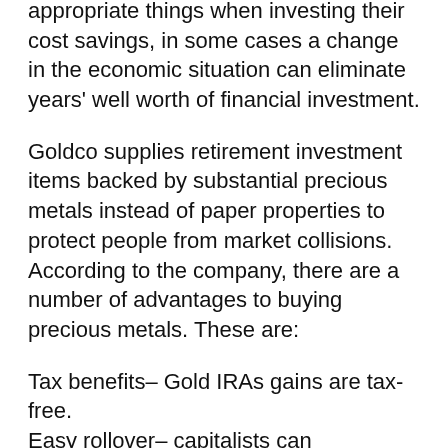appropriate things when investing their cost savings, in some cases a change in the economic situation can eliminate years' well worth of financial investment.
Goldco supplies retirement investment items backed by substantial precious metals instead of paper properties to protect people from market collisions. According to the company, there are a number of advantages to buying precious metals. These are:
Tax benefits– Gold IRAs gains are tax-free.
Easy rollover– capitalists can rollover/transfer existing retired lives funds into Gold IRAs.
Stability– there is less risk involved in precious metals since the worth appreciates